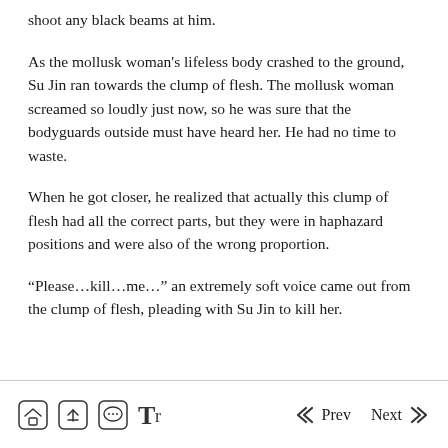shoot any black beams at him.
As the mollusk woman’s lifeless body crashed to the ground, Su Jin ran towards the clump of flesh. The mollusk woman screamed so loudly just now, so he was sure that the bodyguards outside must have heard her. He had no time to waste.
When he got closer, he realized that actually this clump of flesh had all the correct parts, but they were in haphazard positions and were also of the wrong proportion.
“Please…kill…me…” an extremely soft voice came out from the clump of flesh, pleading with Su Jin to kill her.
Home | Up | Chat | Font | Prev | Next